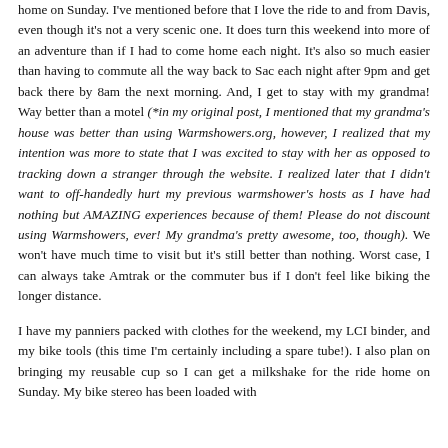home on Sunday. I've mentioned before that I love the ride to and from Davis, even though it's not a very scenic one. It does turn this weekend into more of an adventure than if I had to come home each night. It's also so much easier than having to commute all the way back to Sac each night after 9pm and get back there by 8am the next morning. And, I get to stay with my grandma! Way better than a motel (*in my original post, I mentioned that my grandma's house was better than using Warmshowers.org, however, I realized that my intention was more to state that I was excited to stay with her as opposed to tracking down a stranger through the website. I realized later that I didn't want to off-handedly hurt my previous warmshower's hosts as I have had nothing but AMAZING experiences because of them! Please do not discount using Warmshowers, ever! My grandma's pretty awesome, too, though). We won't have much time to visit but it's still better than nothing. Worst case, I can always take Amtrak or the commuter bus if I don't feel like biking the longer distance.
I have my panniers packed with clothes for the weekend, my LCI binder, and my bike tools (this time I'm certainly including a spare tube!). I also plan on bringing my reusable cup so I can get a milkshake for the ride home on Sunday. My bike stereo has been loaded with